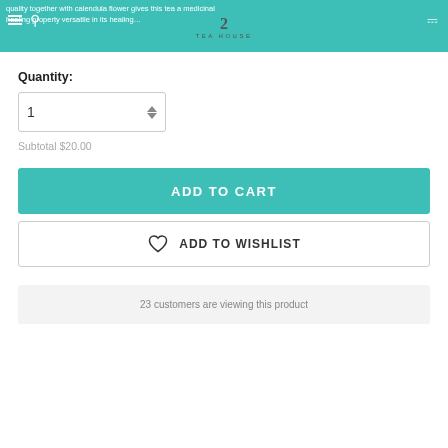quality together with calendula flower gives this tea a medicinal healing property versatile in its healing…
Quantity:
Subtotal $20.00
ADD TO CART
ADD TO WISHLIST
23 customers are viewing this product